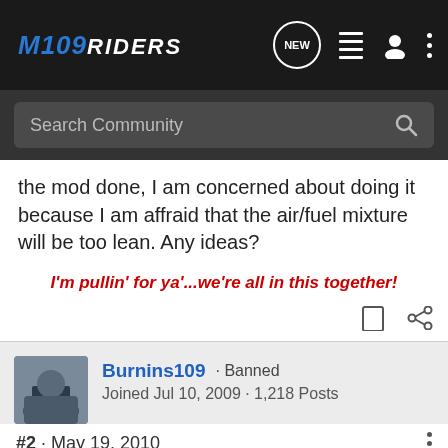[Figure (screenshot): M109Riders forum website navigation bar with logo and icons]
[Figure (screenshot): Search Community search bar on dark background]
the mod done, I am concerned about doing it because I am affraid that the air/fuel mixture will be too lean. Any ideas?
I'm pullin' for ya'...we're all in this together!
Burnins109 · Banned
Joined Jul 10, 2009 · 1,218 Posts
#2 · May 19, 2010
need more power said: